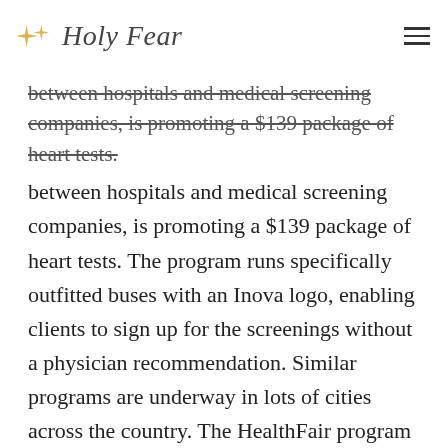Holy Fear
between hospitals and medical screening companies, is promoting a $139 package of heart tests. The program runs specifically outfitted buses with an Inova logo, enabling clients to sign up for the screenings without a physician recommendation. Similar programs are underway in lots of cities across the country. The HealthFair program provides an exceptional opportunity to learn more about the significance of screening.
The business behind Life Line Screening has